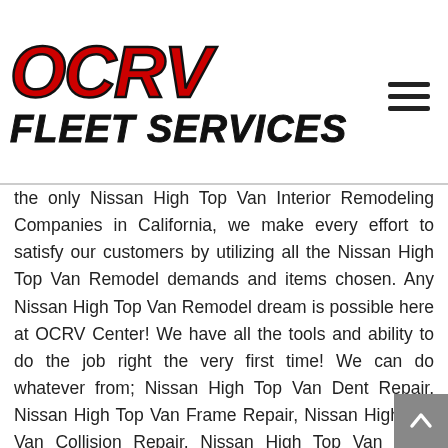OCRV FLEET SERVICES
the only Nissan High Top Van Interior Remodeling Companies in California, we make every effort to satisfy our customers by utilizing all the Nissan High Top Van Remodel demands and items chosen. Any Nissan High Top Van Remodel dream is possible here at OCRV Center! We have all the tools and ability to do the job right the very first time! We can do whatever from; Nissan High Top Van Dent Repair, Nissan High Top Van Frame Repair, Nissan High Top Van Collision Repair, Nissan High Top Van Body Damage, Nissan High Top Van Custom Paint, Nissan High Top Van Repair, Nissan High Top Van Mechanics